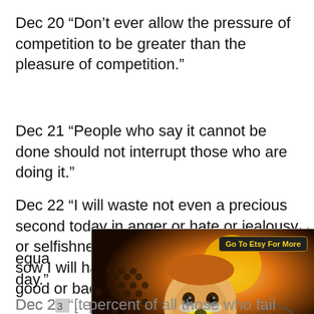Dec 20 “Don’t ever allow the pressure of competition to be greater than the pleasure of competition.”
Dec 21 “People who say it cannot be done should not interrupt those who are doing it.”
Dec 22 “I will waste not even a precious second today in anger or hate or jealousy or selfishness. I know that the seeds I sow I will harvest, because every action, good or bad, is always followed by an equal… day.”
[Figure (illustration): Advertisement overlay showing colorful folk art painting of a face with honeycomb pattern, with 'Go To Etsy For More' button and Jurga Creations logo]
Dec 2[3] “Ninety percent of all those who fail are not…